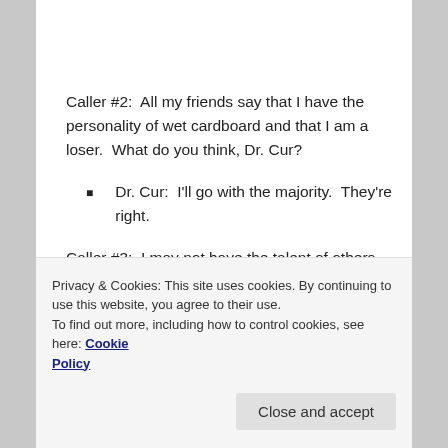Caller #2:  All my friends say that I have the personality of wet cardboard and that I am a loser.  What do you think, Dr. Cur?
Dr. Cur:  I'll go with the majority.  They're right.
Caller #3:  I may not have the talent of others but I think, with enough hard work and persistence, I can grow up to be somebody.
Dr. Cur: You are... You're just not the...
Privacy & Cookies: This site uses cookies. By continuing to use this website, you agree to their use.
To find out more, including how to control cookies, see here: Cookie Policy